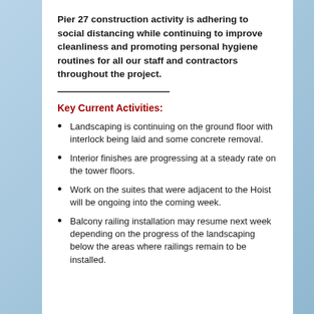Pier 27 construction activity is adhering to social distancing while continuing to improve cleanliness and promoting personal hygiene routines for all our staff and contractors throughout the project.
Key Current Activities:
Landscaping is continuing on the ground floor with interlock being laid and some concrete removal.
Interior finishes are progressing at a steady rate on the tower floors.
Work on the suites that were adjacent to the Hoist will be ongoing into the coming week.
Balcony railing installation may resume next week depending on the progress of the landscaping below the areas where railings remain to be installed.